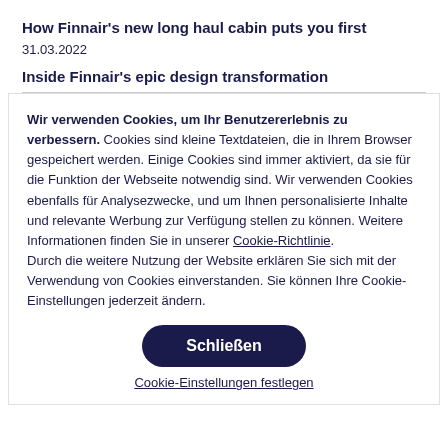How Finnair's new long haul cabin puts you first
31.03.2022
Inside Finnair's epic design transformation
Wir verwenden Cookies, um Ihr Benutzererlebnis zu verbessern. Cookies sind kleine Textdateien, die in Ihrem Browser gespeichert werden. Einige Cookies sind immer aktiviert, da sie für die Funktion der Webseite notwendig sind. Wir verwenden Cookies ebenfalls für Analysezwecke, und um Ihnen personalisierte Inhalte und relevante Werbung zur Verfügung stellen zu können. Weitere Informationen finden Sie in unserer Cookie-Richtlinie. Durch die weitere Nutzung der Website erklären Sie sich mit der Verwendung von Cookies einverstanden. Sie können Ihre Cookie-Einstellungen jederzeit ändern.
Schließen
Cookie-Einstellungen festlegen